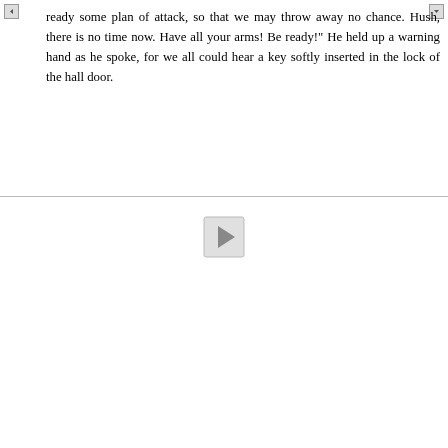ready some plan of attack, so that we may throw away no chance. Hush, there is no time now. Have all your arms! Be ready!" He held up a warning hand as he spoke, for we all could hear a key softly inserted in the lock of the hall door.
[Figure (other): Play button icon — a right-pointing triangle inside a square button with light gray background and border]